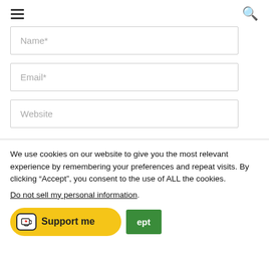[Figure (screenshot): Page header with hamburger menu icon on the left and search (magnifying glass) icon on the right]
[Figure (screenshot): Form input field with placeholder text 'Name*']
[Figure (screenshot): Form input field with placeholder text 'Email*']
[Figure (screenshot): Form input field with placeholder text 'Website']
We use cookies on our website to give you the most relevant experience by remembering your preferences and repeat visits. By clicking “Accept”, you consent to the use of ALL the cookies.
Do not sell my personal information.
[Figure (screenshot): Two buttons: a yellow 'Support me' button with a Ko-fi cup icon, and a green 'Accept' button]